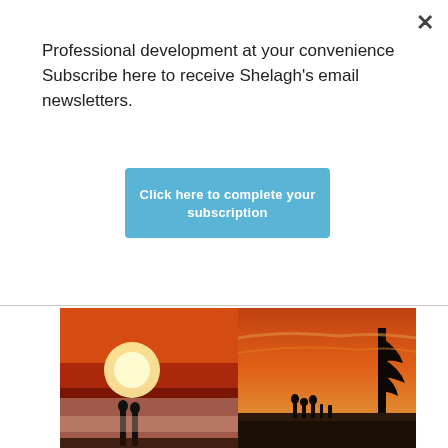Professional development at your convenience Subscribe here to receive Shelagh's email newsletters.
[Figure (screenshot): Blue subscription button reading 'Click here to complete your subscription']
[Figure (photo): Two sunset photos side by side: left shows two silhouettes in orange/red winter sunset haze; right shows silhouettes of people on a beach at orange sunset]
Global BC and 2 others
2  8
Shelagh D...  @... · Aug 27
Just posted a photo @ Vancouver, British Columbia
instagram.com/p/ChvuPqzLCxY/...